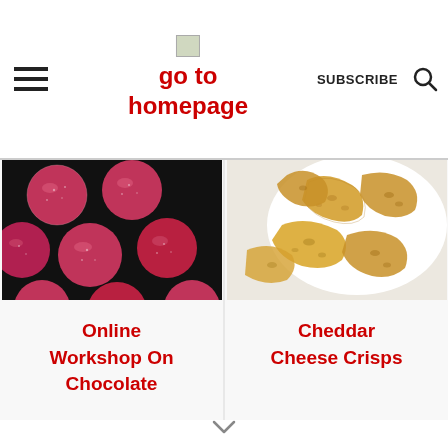go to homepage | SUBSCRIBE
[Figure (photo): Pink glittery chocolate truffles on a black background]
Online Workshop On Chocolate
[Figure (photo): Cheddar cheese crisps on a white plate]
Cheddar Cheese Crisps